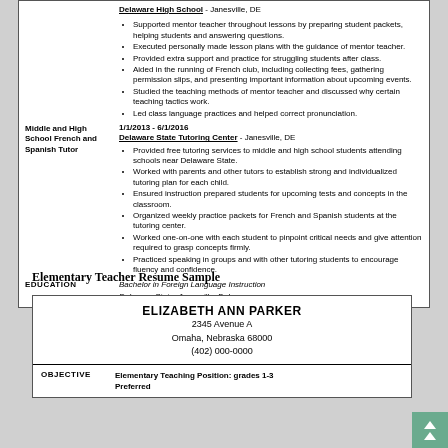Delaware High School - Janesville, DE
Supported mentor teacher throughout lessons by preparing student packets, helping students and answering questions.
Executed personally made lesson plans with the guidance of mentor teacher.
Provided extra support and practice for struggling students after class.
Aided in the running of French club, including collecting fees, gathering permission slips, and presenting important information about upcoming events.
Studied the teaching methods of mentor teacher and discussed why certain teaching tactics work.
Led class language practices and helped correct pronunciation.
Middle and High School French and Spanish Tutor
1/1/2013 - 6/1/2016
Delaware State Tutoring Center - Janesville, DE
Provided free tutoring services to middle and high school students attending schools near Delaware State.
Worked with parents and other tutors to establish strong and individualized tutoring plan for each child.
Ensured instruction prepared students for upcoming tests and concepts in the classroom.
Organized weekly practice packets for French and Spanish students at the tutoring center.
Worked one-on-one with each student to pinpoint critical needs and give attention required to grasp concepts firmly.
Practiced speaking in groups and with other tutoring students to encourage fluency and confidence.
EDUCATION
Bachelor in Foreign Language Instruction
Delaware State, Janesville, Delaware
Elementary Teacher Resume Sample
ELIZABETH ANN PARKER
2345 Avenue A
Omaha, Nebraska 68000
(402) 000-0000
OBJECTIVE
Elementary Teaching Position: grades 1-3 Preferred